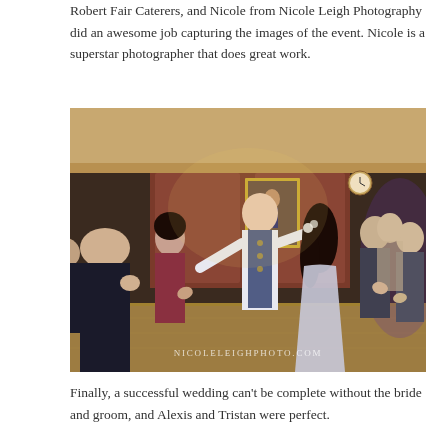Robert Fair Caterers, and Nicole from Nicole Leigh Photography did an awesome job capturing the images of the event. Nicole is a superstar photographer that does great work.
[Figure (photo): Wedding reception dance floor photo. A groom in a patterned vest dances with a bride in a silver dress. Guests surround them clapping and celebrating. Ornate wood-paneled room with a portrait painting on the wall. Watermark reads NICOLELEIGHPHOTO.COM]
Finally, a successful wedding can't be complete without the bride and groom, and Alexis and Tristan were perfect.